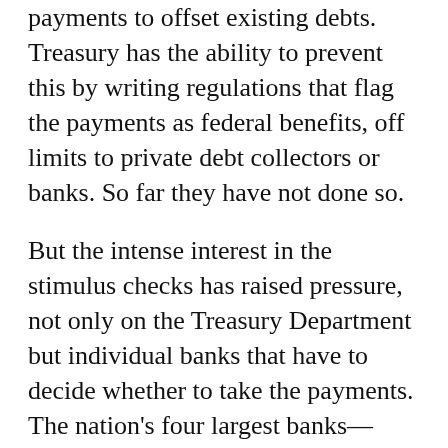payments to offset existing debts. Treasury has the ability to prevent this by writing regulations that flag the payments as federal benefits, off limits to private debt collectors or banks. So far they have not done so.
But the intense interest in the stimulus checks has raised pressure, not only on the Treasury Department but individual banks that have to decide whether to take the payments. The nation's four largest banks—Bank of America, JPMorgan Chase, Wells Fargo, and Citi—have all announced that they would pause collection on negative balances for customers for 30 days, so people remove the stimulus payments from their accounts. USAA's announcement of a 90-day pause gives even more breathing room.
But there are thousands of banks. The Prospect has